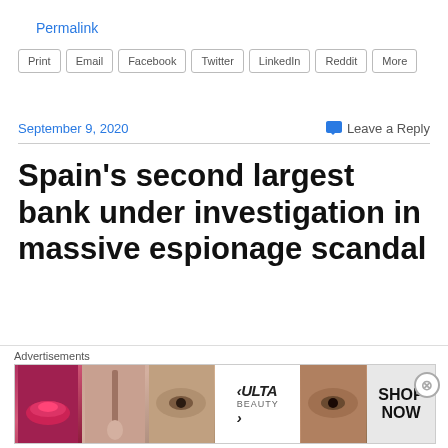Permalink
Print | Email | Facebook | Twitter | LinkedIn | Reddit | More
September 9, 2020
Leave a Reply
Spain’s second largest bank under investigation in massive espionage scandal
Advertisements
[Figure (photo): Ulta Beauty advertisement banner showing cosmetics imagery with SHOP NOW call to action]